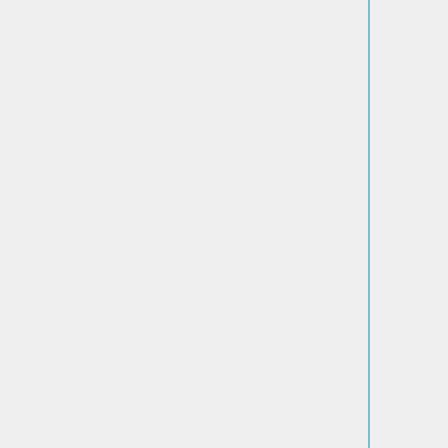"'Title:'" APTOS 2019 Blindness Detection
"'Description:'"
Our team chose the APTOS 2019 Blindness Detection Challenge from Kaggle. The goal of this challenge is to build a machine learning model that detects diabetic retinopathy by